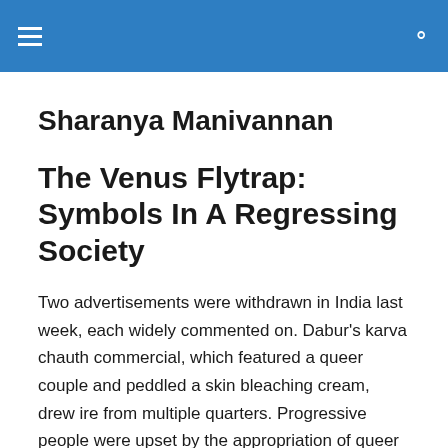Sharanya Manivannan
The Venus Flytrap: Symbols In A Regressing Society
Two advertisements were withdrawn in India last week, each widely commented on. Dabur's karva chauth commercial, which featured a queer couple and peddled a skin bleaching cream, drew ire from multiple quarters. Progressive people were upset by the appropriation of queer narratives to peddle a festival that is considered anti-feminist. Conservatives were angered by the portrayal